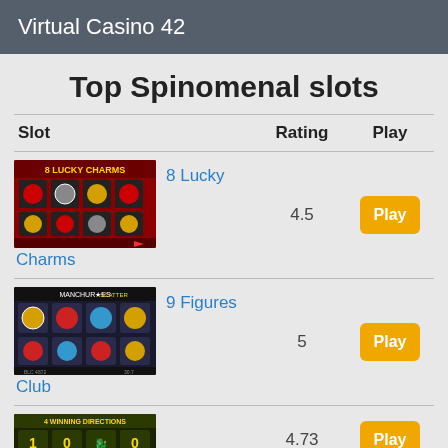Virtual Casino 42
Top Spinomenal slots
| Slot | Rating | Play |
| --- | --- | --- |
| 8 Lucky Charms | 4.5 | Play |
| 9 Figures Club | 5 | Play |
| [third slot] | 4.73 | Play |